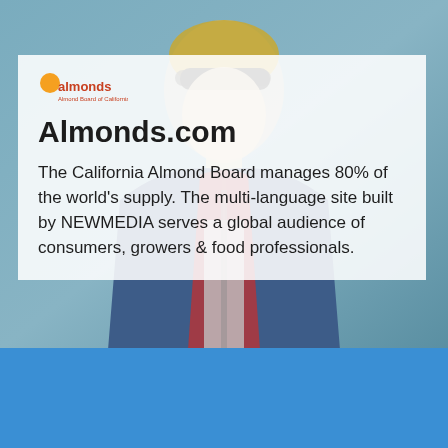[Figure (photo): Background photo of a child or young person wearing a denim jacket and colorful shirt, used as a decorative background image for the Almonds.com website case study card.]
Almonds.com
The California Almond Board manages 80% of the world's supply. The multi-language site built by NEWMEDIA serves a global audience of consumers, growers & food professionals.
[Figure (other): Blue solid color rectangle block at the bottom of the page.]